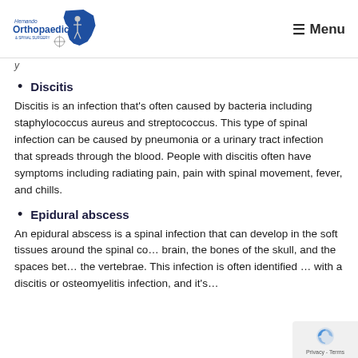Hernando Orthopaedic & Spinal Surgery — Menu
y…
Discitis
Discitis is an infection that's often caused by bacteria including staphylococcus aureus and streptococcus. This type of spinal infection can be caused by pneumonia or a urinary tract infection that spreads through the blood. People with discitis often have symptoms including radiating pain, pain with spinal movement, fever, and chills.
Epidural abscess
An epidural abscess is a spinal infection that can develop in the soft tissues around the spinal co… brain, the bones of the skull, and the spaces bet… the vertebrae. This infection is often identified … with a discitis or osteomyelitis infection, and it's…